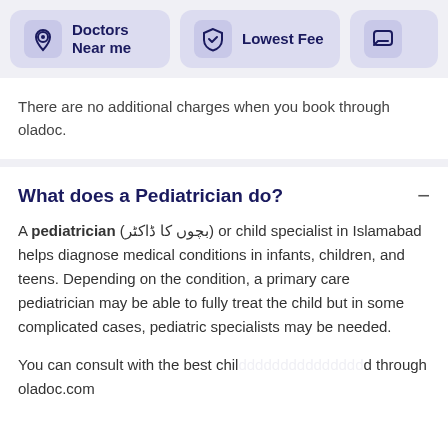[Figure (screenshot): Navigation bar with three filter options: 'Doctors Near me' with location pin icon, 'Lowest Fee' with shield/discount icon, and a third partially visible option with chat icon. All items have light purple/lavender background tiles.]
There are no additional charges when you book through oladoc.
What does a Pediatrician do?
A pediatrician (بچوں کا ڈاکٹر) or child specialist in Islamabad helps diagnose medical conditions in infants, children, and teens. Depending on the condition, a primary care pediatrician may be able to fully treat the child but in some complicated cases, pediatric specialists may be needed.
You can consult with the best child specialist in Islamabad through oladoc.com
Apart from treating medical conditions, many child specialists also perform regular wellness and health checkups, administer vaccinations, and monitor child development.